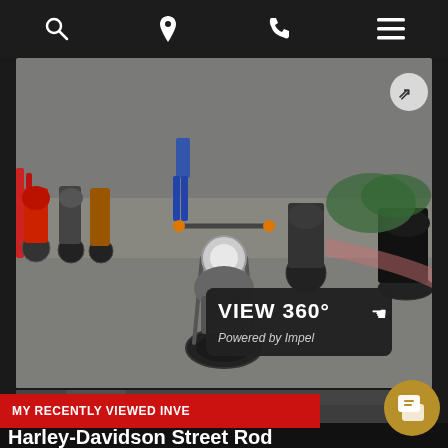[Figure (screenshot): Mobile website screenshot showing a Harley-Davidson dealership page with navigation bar icons (search, location, phone, menu), a 360-degree photo viewer of motorcycles in a dealership parking lot with 'VIEW 360° Powered by Impel' overlay, a photo strip showing 11 photos, a 'MY RECENTLY VIEWED INVE...' red banner, a gold chat button, and partial title text 'Harley-Davidson Street Rod']
VIEW 360°
Powered by Impel
PHOTOS
11
MY RECENTLY VIEWED INVE
Harley-Davidson Street Rod